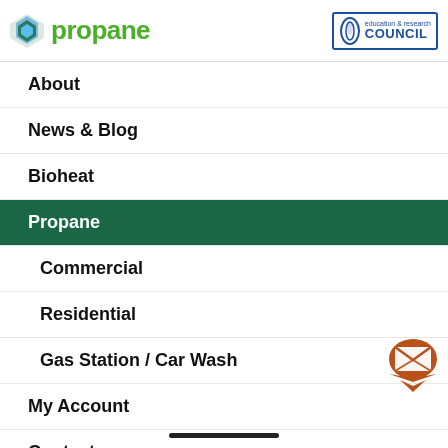[Figure (logo): Propane logo with blue-green diamond icon and green 'propane' text, alongside education & research COUNCIL logo with flame icon in blue]
About
News & Blog
Bioheat
Propane
Commercial
Residential
Gas Station / Car Wash
My Account
Contact
[Figure (illustration): Orange speech bubble with envelope/mail icon]